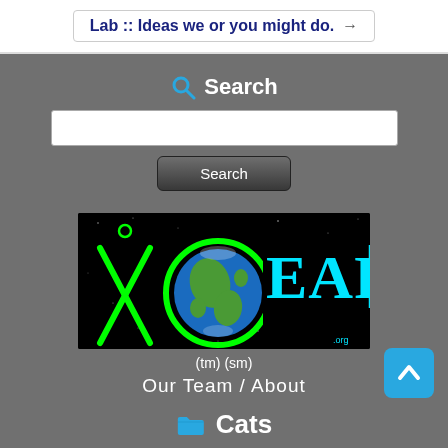Lab :: Ideas we or you might do. →
Search
[Figure (screenshot): Search input box (white rectangle)]
[Figure (screenshot): Search button (dark gradient)]
[Figure (logo): XO Earth logo on black background with green X, O letters, earth globe, and cyan EARTH text]
(tm) (sm)
Our Team  /  About
Cats